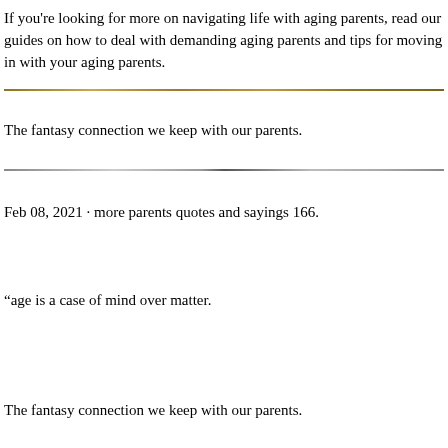If you're looking for more on navigating life with aging parents, read our guides on how to deal with demanding aging parents and tips for moving in with your aging parents.
[Figure (other): Horizontal decorative divider line with brownish/golden texture]
The fantasy connection we keep with our parents.
[Figure (other): Horizontal decorative divider line with grey/silver texture]
Feb 08, 2021 · more parents quotes and sayings 166.
“age is a case of mind over matter.
The fantasy connection we keep with our parents.